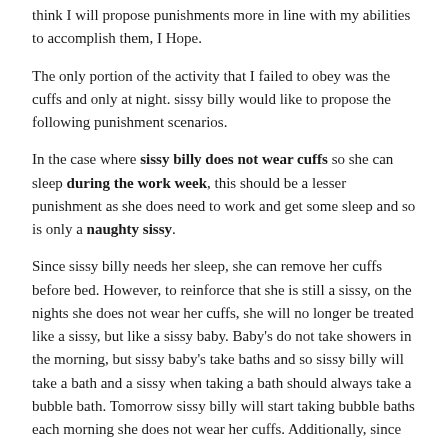think I will propose punishments more in line with my abilities to accomplish them, I Hope.
The only portion of the activity that I failed to obey was the cuffs and only at night. sissy billy would like to propose the following punishment scenarios.
In the case where sissy billy does not wear cuffs so she can sleep during the work week, this should be a lesser punishment as she does need to work and get some sleep and so is only a naughty sissy.
Since sissy billy needs her sleep, she can remove her cuffs before bed. However, to reinforce that she is still a sissy, on the nights she does not wear her cuffs, she will no longer be treated like a sissy, but like a sissy baby. Baby's do not take showers in the morning, but sissy baby's take baths and so sissy billy will take a bath and a sissy when taking a bath should always take a bubble bath. Tomorrow sissy billy will start taking bubble baths each morning she does not wear her cuffs. Additionally, since